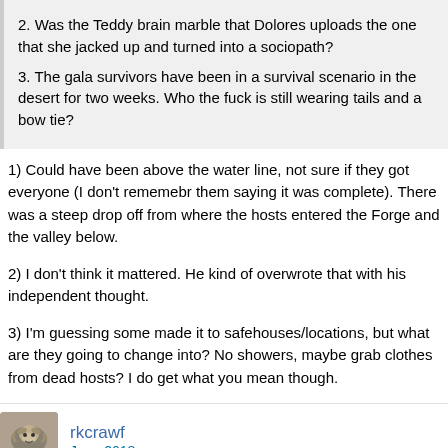2. Was the Teddy brain marble that Dolores uploads the one that she jacked up and turned into a sociopath?
3. The gala survivors have been in a survival scenario in the desert for two weeks. Who the fuck is still wearing tails and a bow tie?
1) Could have been above the water line, not sure if they got everyone (I don't rememebr them saying it was complete). There was a steep drop off from where the hosts entered the Forge and the valley below.
2) I don't think it mattered. He kind of overwrote that with his independent thought.
3) I'm guessing some made it to safehouses/locations, but what are they going to change into? No showers, maybe grab clothes from dead hosts? I do get what you mean though.
rkcrawf
June 2018
Making more sense...